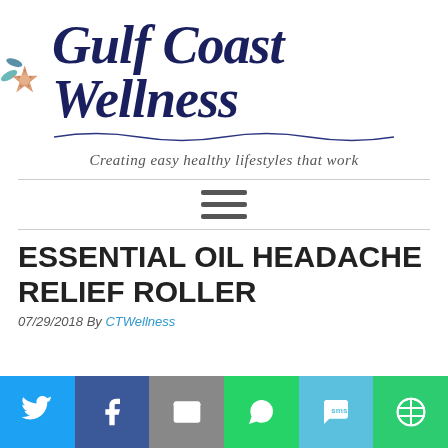[Figure (logo): Gulf Coast Wellness logo with starfish icon, script text, wave underline, and tagline 'Creating easy healthy lifestyles that work']
[Figure (other): Hamburger/navigation menu icon (three horizontal lines)]
ESSENTIAL OIL HEADACHE RELIEF ROLLER
07/29/2018 By CTWellness
[Figure (infographic): Social sharing bar with Twitter, Facebook, Email, WhatsApp, SMS, and more options]